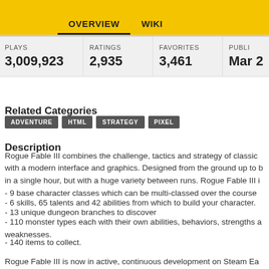OVERVIEW   WIKI
| PLAYS | RATINGS | FAVORITES | PUBLI... |
| --- | --- | --- | --- |
| 3,009,923 | 2,935 | 3,461 | Mar ... |
Related Categories
ADVENTURE
HTML
STRATEGY
PIXEL
Description
Rogue Fable III combines the challenge, tactics and strategy of classic with a modern interface and graphics. Designed from the ground up to be played in a single hour, but with a huge variety between runs. Rogue Fable III i...
- 9 base character classes which can be multi-classed over the course
- 6 skills, 65 talents and 42 abilities from which to build your character.
- 13 unique dungeon branches to discover
- 110 monster types each with their own abilities, behaviors, strengths and weaknesses.
- 140 items to collect.
Rogue Fable III is now in active, continuous development on Steam Ea and will be receiving updates, improvements, and new content there. Th version is, nonetheless, a completed game in itself and will continue to...